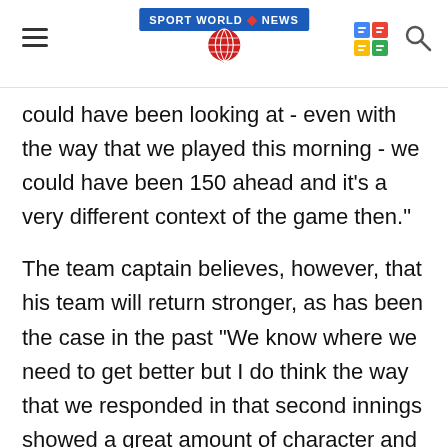Sport World News
could have been looking at - even with the way that we played this morning - we could have been 150 ahead and it's a very different context of the game then."
The team captain believes, however, that his team will return stronger, as has been the case in the past "We know where we need to get better but I do think the way that we responded in that second innings showed a great amount of character and fight which we will need throughout the rest of this series," he said in an interview with BTSport.
"We're a team that's always responded well to